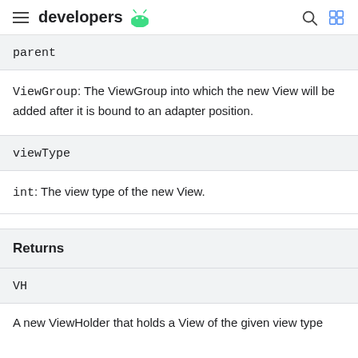developers
parent
ViewGroup: The ViewGroup into which the new View will be added after it is bound to an adapter position.
viewType
int: The view type of the new View.
Returns
VH
A new ViewHolder that holds a View of the given view type